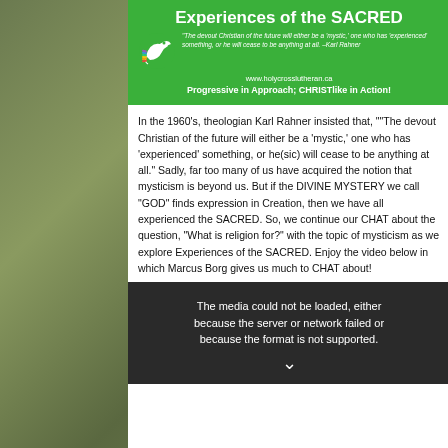[Figure (illustration): Green banner with white dove logo and rainbow colors. Title reads 'Experiences of the SACRED'. Quote from Karl Rahner about devout Christian of future. URL www.holycrosslutheran.ca. Tagline: Progressive in Approach; CHRISTlike in Action!]
In the 1960's, theologian Karl Rahner insisted that, ""The devout Christian of the future will either be a 'mystic,' one who has 'experienced' something, or he(sic) will cease to be anything at all." Sadly, far too many of us have acquired the notion that mysticism is beyond us. But if the DIVINE MYSTERY we call "GOD" finds expression in Creation, then we have all experienced the SACRED. So, we continue our CHAT about the question, "What is religion for?" with the topic of mysticism as we explore Experiences of the SACRED. Enjoy the video below in which Marcus Borg gives us much to CHAT about!
[Figure (screenshot): Video player showing error message: The media could not be loaded, either because the server or network failed or because the format is not supported. Dark background with a person's silhouette and a down-pointing arrow/chevron.]